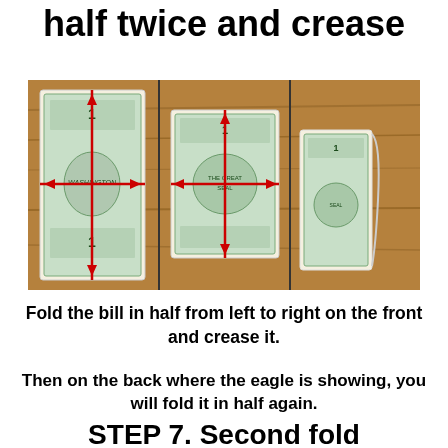half twice and crease
[Figure (photo): Three-panel instructional photo showing a US dollar bill being folded in half. Left panel: dollar bill laid flat with red crosshair lines showing fold points. Middle panel: bill folded once in half showing the back with eagle, red crosshair visible. Right panel: bill folded again showing final folded result.]
Fold the bill in half from left to right on the front and crease it.
Then on the back where the eagle is showing, you will fold it in half again.
STEP 7. Second fold